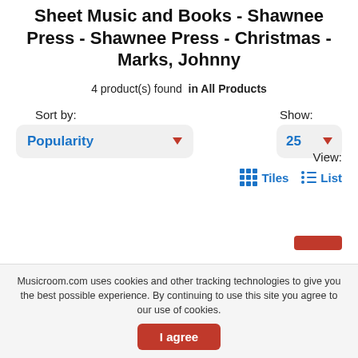Sheet Music and Books - Shawnee Press - Shawnee Press - Christmas - Marks, Johnny
4 product(s) found in All Products
Sort by: Popularity
Show: 25
View: Tiles List
Musicroom.com uses cookies and other tracking technologies to give you the best possible experience. By continuing to use this site you agree to our use of cookies.
I agree